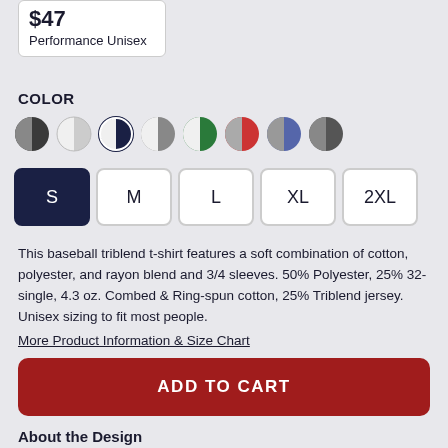$47
Performance Unisex
COLOR
[Figure (other): Color swatches: 8 circular color options showing various color combinations including black/grey, white/grey, white/navy (selected), grey/white, green/white, red/grey, blue/grey, dark grey/grey]
S M L XL 2XL (size selector buttons, S selected)
This baseball triblend t-shirt features a soft combination of cotton, polyester, and rayon blend and 3/4 sleeves. 50% Polyester, 25% 32-single, 4.3 oz. Combed & Ring-spun cotton, 25% Triblend jersey. Unisex sizing to fit most people.
More Product Information & Size Chart
ADD TO CART
About the Design